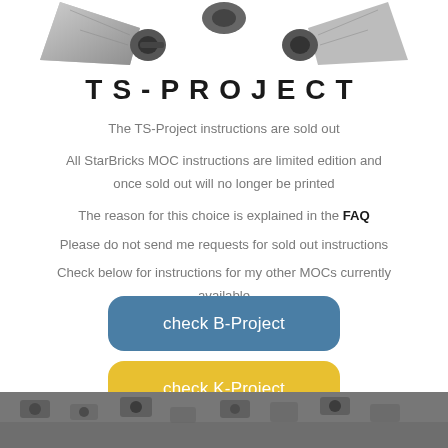[Figure (illustration): Partial view of two TIE fighter spacecraft models in black and grey at the top of the page]
TS-PROJECT
The TS-Project instructions are sold out
All StarBricks MOC instructions are limited edition and once sold out will no longer be printed
The reason for this choice is explained in the FAQ
Please do not send me requests for sold out instructions
Check below for instructions for my other MOCs currently available
[Figure (infographic): Blue rounded button labeled 'check B-Project']
[Figure (infographic): Yellow rounded button labeled 'check K-Project']
[Figure (photo): Partial black and white photo of LEGO bricks at the bottom of the page]